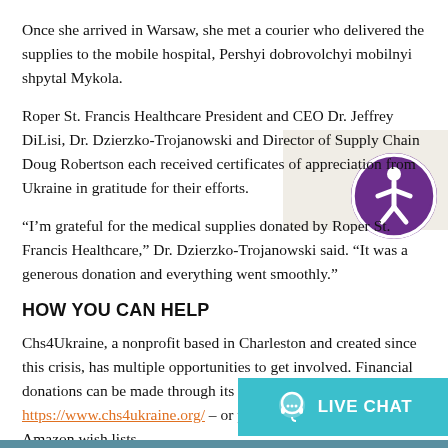Once she arrived in Warsaw, she met a courier who delivered the supplies to the mobile hospital, Pershyi dobrovolchyi mobilnyi shpytal Mykola.
Roper St. Francis Healthcare President and CEO Dr. Jeffrey DiLisi, Dr. Dzierzko-Trojanowski and Director of Supply Chain Doug Robertson each received certificates of appreciation from Ukraine in gratitude for their efforts.
“I’m grateful for the medical supplies donated by Roper St. Francis Healthcare,” Dr. Dzierzko-Trojanowski said. “It was a generous donation and everything went smoothly.”
HOW YOU CAN HELP
Chs4Ukraine, a nonprofit based in Charleston and created since this crisis, has multiple opportunities to get involved. Financial donations can be made through its website – https://www.chs4ukraine.org/ – or purchase items directly from Amazon wish lists.
[Figure (illustration): Purple circular accessibility icon (wheelchair person symbol) with a beige/cream background box behind the top-right area of the page]
[Figure (illustration): Teal/cyan Live Chat widget button at bottom right with headset icon and white bold text LIVE CHAT]